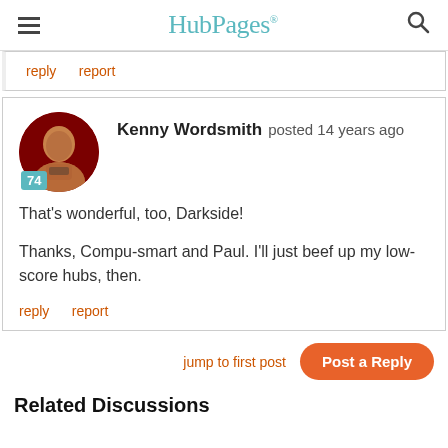HubPages
reply   report
Kenny Wordsmith posted 14 years ago

That's wonderful, too, Darkside!

Thanks, Compu-smart and Paul. I'll just beef up my low-score hubs, then.
reply   report
jump to first post   Post a Reply
Related Discussions